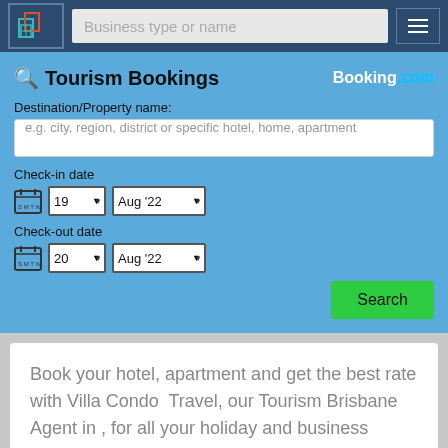[Figure (screenshot): Website navigation bar with logo, search input placeholder 'Business type or name', and hamburger menu icon on dark blue background]
[Figure (photo): Partial landscape/cityscape photo strip]
Tourism Bookings
[Figure (logo): Booking.com logo in white and cyan text]
Destination/Property name:
e.g. city, region, district or specific hotel, home, apartment
Check-in date
19 ▾  Aug '22 ▾
Check-out date
20 ▾  Aug '22 ▾
Search
Book your hotel, apartment and get the best rate with Villa Condo  Travel, our Tourism Brisbane Agent in , for all your holiday and business needs.